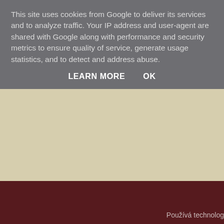This site uses cookies from Google to deliver its services and to analyze traffic. Your IP address and user-agent are shared with Google along with performance and security metrics to ensure quality of service, generate usage statistics, and to detect and address abuse.
LEARN MORE    OK
[Figure (other): Beige/tan textured background area occupying the middle portion of the page]
Používá technolog